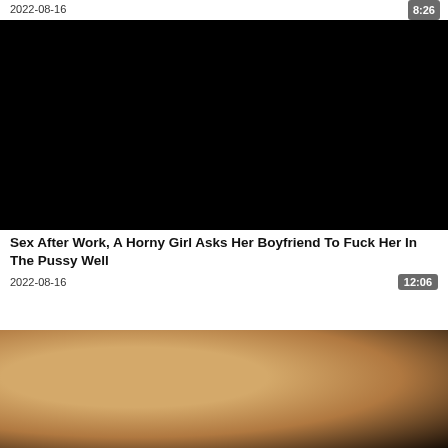2022-08-16
8:26
[Figure (photo): Black/dark video thumbnail]
Sex After Work, A Horny Girl Asks Her Boyfriend To Fuck Her In The Pussy Well
2022-08-16
12:06
[Figure (photo): Close-up photo thumbnail, skin tones]